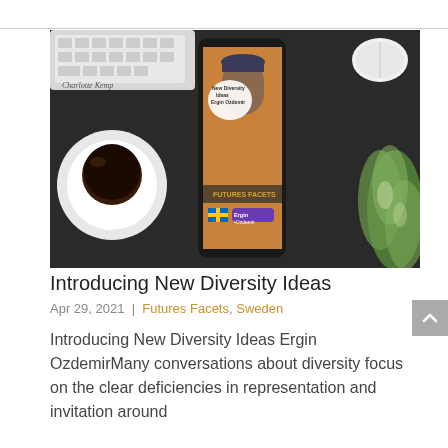[Figure (photo): A smartphone displayed on a dark desk with a keyboard, coffee cup, computer mouse, and green plant. The phone screen shows a podcast/video thumbnail for 'Futures Facets' featuring Ergin Ozdemir with text 'New Diversity Ideas Ergin Ozdemir' and a Swedish flag icon.]
Introducing New Diversity Ideas
Apr 29, 2021 | Futures Facets, Sweden
Introducing New Diversity Ideas Ergin OzdemirMany conversations about diversity focus on the clear deficiencies in representation and invitation around